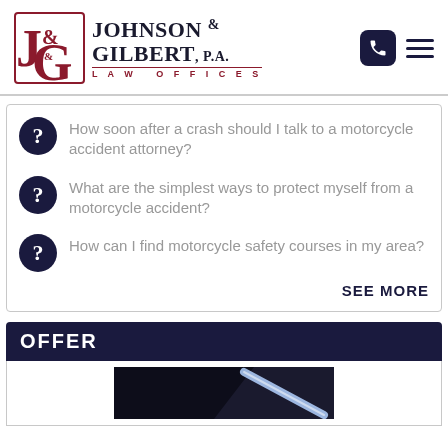[Figure (logo): Johnson & Gilbert, P.A. Law Offices logo with stylized J&G monogram in dark red/maroon and dark navy firm name text, plus phone and menu icons]
How soon after a crash should I talk to a motorcycle accident attorney?
What are the simplest ways to protect myself from a motorcycle accident?
How can I find motorcycle safety courses in my area?
SEE MORE
OFFER
[Figure (photo): Dark image with bright light streak, partially visible at bottom of page]